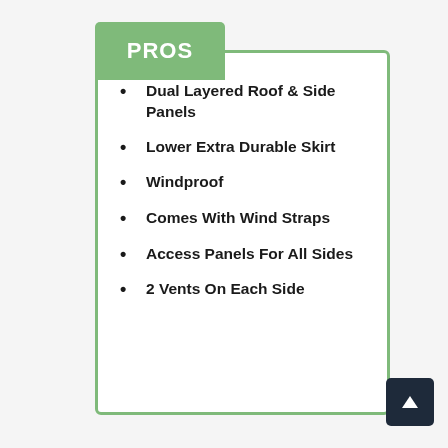PROS
Dual Layered Roof & Side Panels
Lower Extra Durable Skirt
Windproof
Comes With Wind Straps
Access Panels For All Sides
2 Vents On Each Side